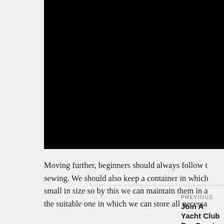[Figure (photo): Black image block at top of page, content not visible]
Moving further, beginners should always follow t… sewing. We should also keep a container in which… small in size so by this we can maintain them in a… the suitable one in which we can store all necessa…
PREVIOUS
Join A Yacht Club For Great Boa…